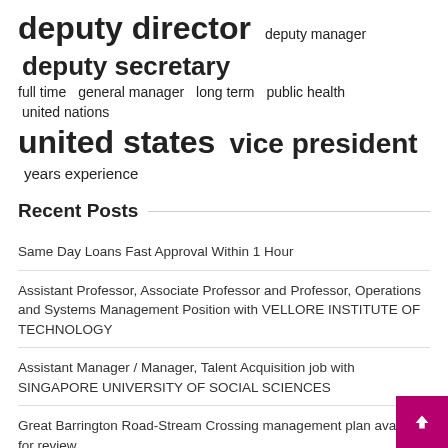[Figure (infographic): Tag cloud with job/role related terms in varying font sizes: 'deputy director' (largest), 'deputy manager', 'deputy secretary', 'full time', 'general manager', 'long term', 'public health', 'united nations', 'united states' (large), 'vice president' (large), 'years experience']
Recent Posts
Same Day Loans Fast Approval Within 1 Hour
Assistant Professor, Associate Professor and Professor, Operations and Systems Management Position with VELLORE INSTITUTE OF TECHNOLOGY
Assistant Manager / Manager, Talent Acquisition job with SINGAPORE UNIVERSITY OF SOCIAL SCIENCES
Great Barrington Road-Stream Crossing management plan available for review
UScellular promotes Megan Southard to assistant store manager for Westbrook, Scarborough and South Portland